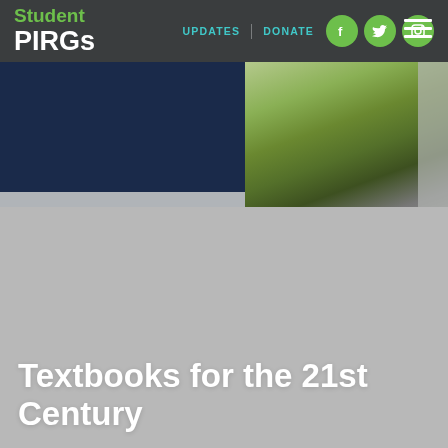UPDATES | DONATE
Student PIRGs
[Figure (photo): Photo banner showing trees with green foliage against a light sky, partially overlaid with a dark navy blue block on the left side. A person appears partially visible beneath the tree canopy on the right.]
Textbooks for the 21st Century